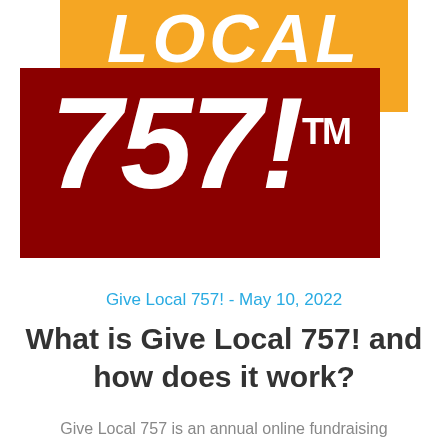[Figure (logo): Give Local 757 logo: orange block with 'LOCAL' text at top, dark red block with '757!™' in large white bold italic text]
Give Local 757! - May 10, 2022
What is Give Local 757! and how does it work?
Give Local 757 is an annual online fundraising